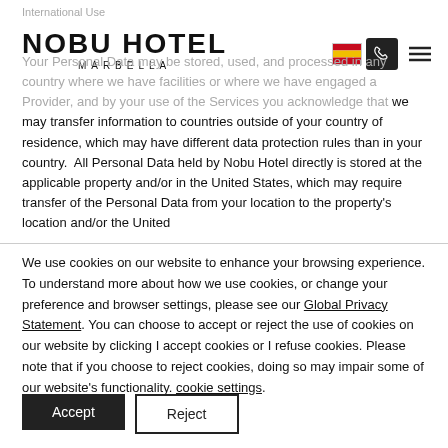International Use
[Figure (logo): Nobu Hotel Marbella logo with stylized bold text]
Your Personal Data may be stored, used, and processed in any country where we have facilities or where we have engaged a Provider, and by your use of the Services you acknowledge that we may transfer information to countries outside of your country of residence, which may have different data protection rules than in your country.  All Personal Data held by Nobu Hotel directly is stored at the applicable property and/or in the United States, which may require transfer of the Personal Data from your location to the property's location and/or the United
We use cookies on our website to enhance your browsing experience. To understand more about how we use cookies, or change your preference and browser settings, please see our Global Privacy Statement. You can choose to accept or reject the use of cookies on our website by clicking I accept cookies or I refuse cookies. Please note that if you choose to reject cookies, doing so may impair some of our website's functionality. cookie settings.
Accept
Reject